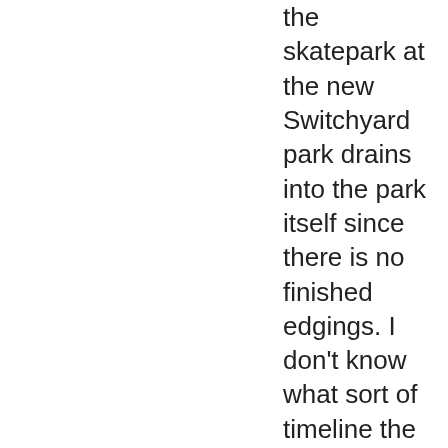the skatepark at the new Switchyard park drains into the park itself since there is no finished edgings. I don't know what sort of timeline the construction crews have on getting to this, but I just wanted to point out how bad it gets. Some friends had to get wet and dirty in order to